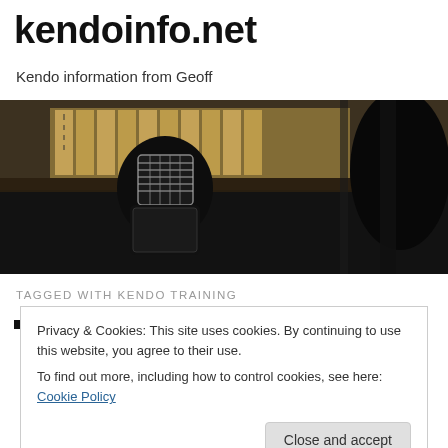kendoinfo.net
Kendo information from Geoff
[Figure (photo): A kendo practitioner wearing full bogu (protective armor) including men (helmet) with metal grill face guard, standing in what appears to be a dojo with Japanese calligraphy plaques on the wall in the background. Dark atmospheric scene.]
TAGGED WITH KENDO TRAINING
Privacy & Cookies: This site uses cookies. By continuing to use this website, you agree to their use.
To find out more, including how to control cookies, see here: Cookie Policy
Close and accept